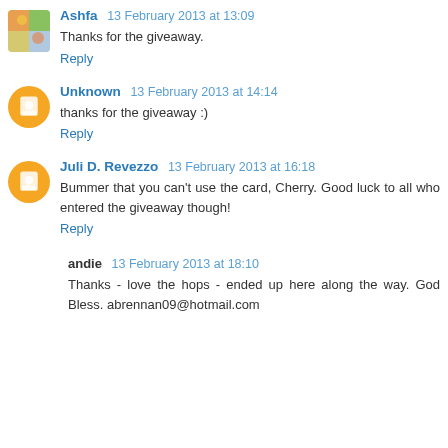Ashfa 13 February 2013 at 13:09
Thanks for the giveaway.
Reply
Unknown 13 February 2013 at 14:14
thanks for the giveaway :)
Reply
Juli D. Revezzo 13 February 2013 at 16:18
Bummer that you can't use the card, Cherry. Good luck to all who entered the giveaway though!
Reply
andie 13 February 2013 at 18:10
Thanks - love the hops - ended up here along the way. God Bless. abrennan09@hotmail.com